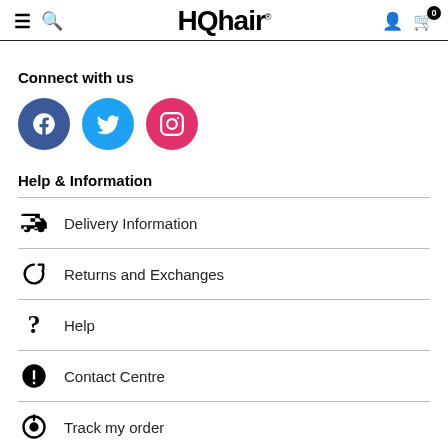HQhair
Connect with us
[Figure (illustration): Three social media icons: Facebook (blue circle with 'f'), Twitter (cyan circle with bird), Instagram (pink circle with camera outline)]
Help & Information
Delivery Information
Returns and Exchanges
Help
Contact Centre
Track my order